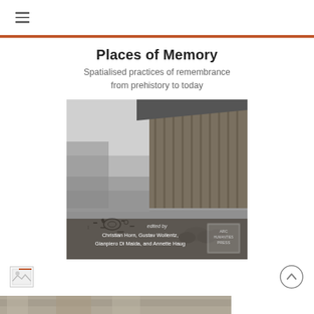≡
Places of Memory
Spatialised practices of remembrance from prehistory to today
[Figure (photo): Black and white photograph of a wooden barn exterior with rock petroglyphs visible on a flat stone surface in the foreground, with farm equipment and stacked stones. Overlaid text reads 'edited by Christian Horn, Gustav Wollentz, Gianpiero Di Maida, and Annette Haug' with a publisher logo (Arc Humanities Press).]
[Figure (photo): Small broken/missing image icon thumbnail in bottom left]
[Figure (photo): Partial view of another photograph visible at very bottom of page]